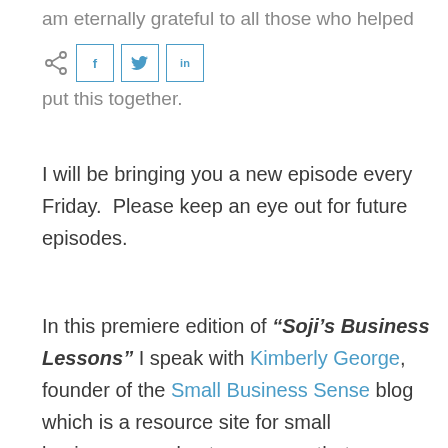am eternally grateful to all those who helped
[Figure (other): Social share buttons row: share icon, Facebook (f), Twitter (bird), LinkedIn (in) buttons with blue borders]
put this together.
I will be bringing you a new episode every Friday.  Please keep an eye out for future episodes.
In this premiere edition of “Soji’s Business Lessons” I speak with Kimberly George, founder of the Small Business Sense blog which is a resource site for small businesses and entrepreneurs that covers trending information in entrepreneurship and small business. In this episode Kimberly talks about the lessons she has learned while working as an entrepreneur in the